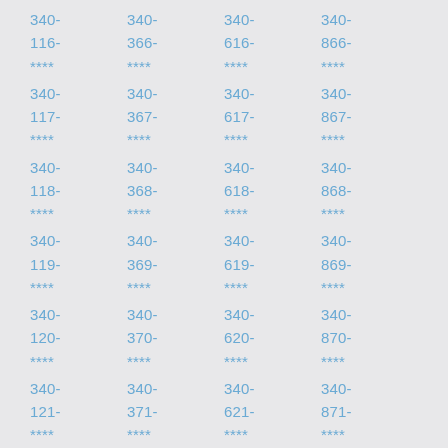340-
116-
****
340-
117-
****
340-
118-
****
340-
119-
****
340-
120-
****
340-
121-
****
340-
366-
****
340-
367-
****
340-
368-
****
340-
369-
****
340-
370-
****
340-
371-
****
340-
616-
****
340-
617-
****
340-
618-
****
340-
619-
****
340-
620-
****
340-
621-
****
340-
866-
****
340-
867-
****
340-
868-
****
340-
869-
****
340-
870-
****
340-
871-
****